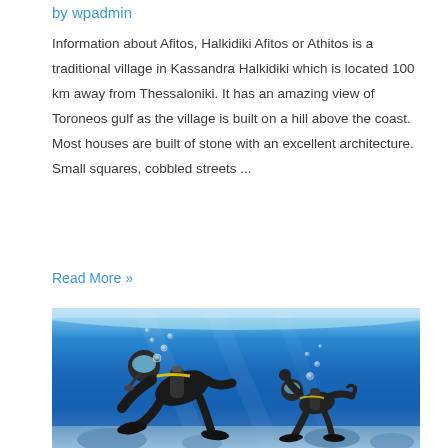by wpadmin
Information about Afitos, Halkidiki Afitos or Athitos is a traditional village in Kassandra Halkidiki which is located 100 km away from Thessaloniki. It has an amazing view of Toroneos gulf as the village is built on a hill above the coast. Most houses are built of stone with an excellent architecture. Small squares, cobbled streets ...
Read More »
[Figure (photo): Two scuba divers underwater in clear blue water, with coral reef visible at the bottom. The diver in the foreground is closer to the camera wearing black wetsuit with yellow accents, and behind is a second diver also in black wetsuit making an OK sign.]